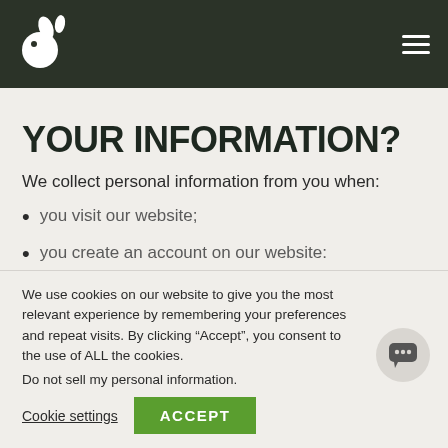[Figure (logo): Green leaf/plant logo on dark green header background]
YOUR INFORMATION?
We collect personal information from you when:
you visit our website;
you create an account on our website:
We use cookies on our website to give you the most relevant experience by remembering your preferences and repeat visits. By clicking “Accept”, you consent to the use of ALL the cookies.
Do not sell my personal information.
Cookie settings  ACCEPT